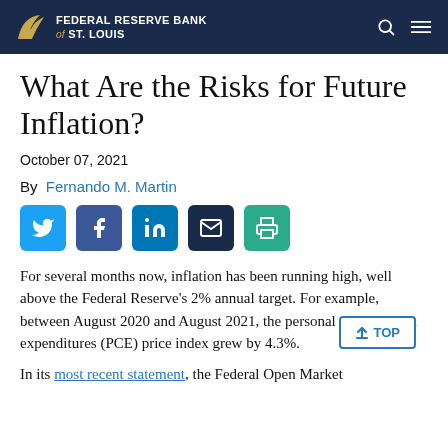FEDERAL RESERVE BANK of ST. LOUIS
What Are the Risks for Future Inflation?
October 07, 2021
By Fernando M. Martin
[Figure (other): Social sharing buttons: Twitter, Facebook, LinkedIn, Email, Print]
For several months now, inflation has been running high, well above the Federal Reserve's 2% annual target. For example, between August 2020 and August 2021, the personal consumption expenditures (PCE) price index grew by 4.3%.
In its most recent statement, the Federal Open Market